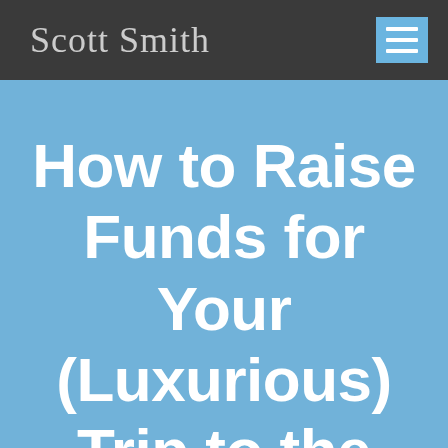Scott Smith
How to Raise Funds for Your (Luxurious) Trip to the Philipines